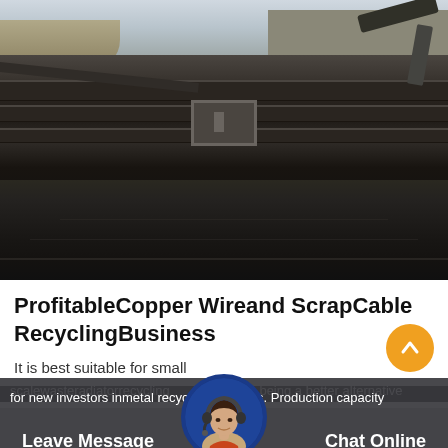[Figure (photo): Industrial scrap metal recycling facility showing dark metal conveyor or processing troughs with water, outdoor setting with buildings and earthworks in background]
ProfitableCopper Wireand ScrapCable RecyclingBusiness
It is best suitable for small scalewasteradiatorrecycling..., being a better alternative for new investors inmetal recycling business. Production capacity
Leave Message
Chat Online